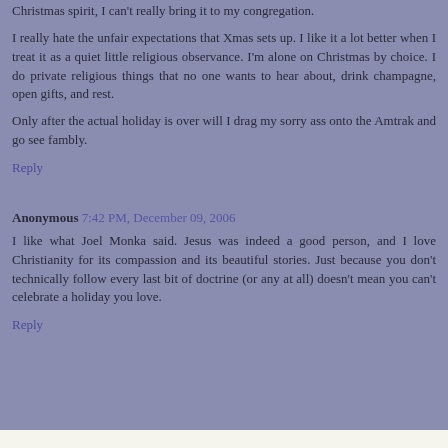Christmas spirit, I can't really bring it to my congregation.
I really hate the unfair expectations that Xmas sets up. I like it a lot better when I treat it as a quiet little religious observance. I'm alone on Christmas by choice. I do private religious things that no one wants to hear about, drink champagne, open gifts, and rest.
Only after the actual holiday is over will I drag my sorry ass onto the Amtrak and go see fambly.
Reply
Anonymous 7:42 PM, December 09, 2006
I like what Joel Monka said. Jesus was indeed a good person, and I love Christianity for its compassion and its beautiful stories. Just because you don't technically follow every last bit of doctrine (or any at all) doesn't mean you can't celebrate a holiday you love.
Reply